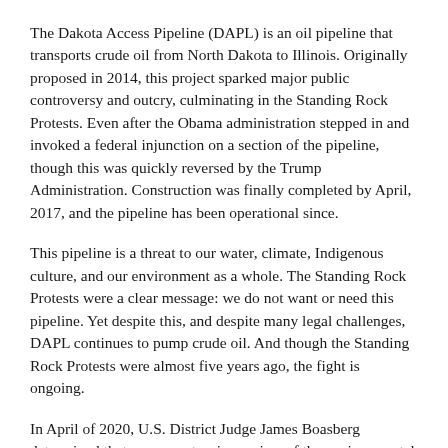The Dakota Access Pipeline (DAPL) is an oil pipeline that transports crude oil from North Dakota to Illinois. Originally proposed in 2014, this project sparked major public controversy and outcry, culminating in the Standing Rock Protests. Even after the Obama administration stepped in and invoked a federal injunction on a section of the pipeline, though this was quickly reversed by the Trump Administration. Construction was finally completed by April, 2017, and the pipeline has been operational since.
This pipeline is a threat to our water, climate, Indigenous culture, and our environment as a whole. The Standing Rock Protests were a clear message: we do not want or need this pipeline. Yet despite this, and despite many legal challenges, DAPL continues to pump crude oil. And though the Standing Rock Protests were almost five years ago, the fight is ongoing.
In April of 2020, U.S. District Judge James Boasberg determined that a more extensive review of the environmental impacts was necessary. Yet despite this and an ongoing environmental review by the Army Corps of Engineers, the pipeline is still operating. In April of 2021, Judge Boasberg gave the Army Corps of Engineers and President Biden the opportunity to raise objections to the pipeline operation...